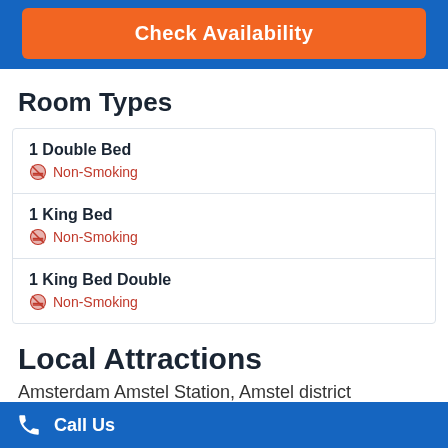[Figure (screenshot): Orange 'Check Availability' button on blue background]
Room Types
1 Double Bed — Non-Smoking
1 King Bed — Non-Smoking
1 King Bed Double — Non-Smoking
Local Attractions
Amsterdam Amstel Station, Amstel district
Call Us